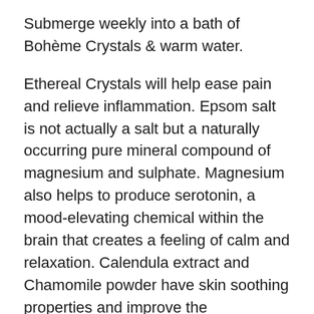Submerge weekly into a bath of Bohème Crystals & warm water.
Ethereal Crystals will help ease pain and relieve inflammation. Epsom salt is not actually a salt but a naturally occurring pure mineral compound of magnesium and sulphate. Magnesium also helps to produce serotonin, a mood-elevating chemical within the brain that creates a feeling of calm and relaxation. Calendula extract and Chamomile powder have skin soothing properties and improve the appearance of troubled skin. Lemon Myrtle Essential Oil uplifts emotions as well as improving concentration. Nag Champa Oil/Michelia Champaca Oil is used in both ayurvedic and siddha medicine where the flowers were considered to be a stimulant, tonic and treatment for skin diseases and wounds.
Ritual
Shower as per normal first.